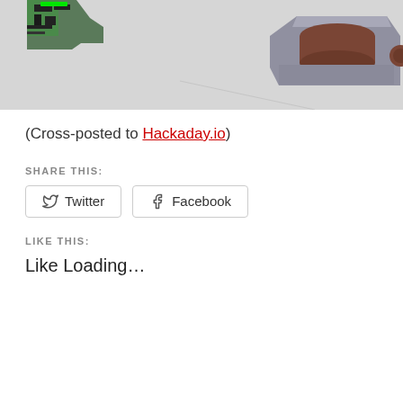[Figure (illustration): 3D rendered scene showing a gray robotic/mechanical component with a dark brown cylinder on top, and a green-highlighted PCB or flat component in the upper left, against a light gray background.]
(Cross-posted to Hackaday.io)
SHARE THIS:
Twitter  Facebook
LIKE THIS:
Like Loading…